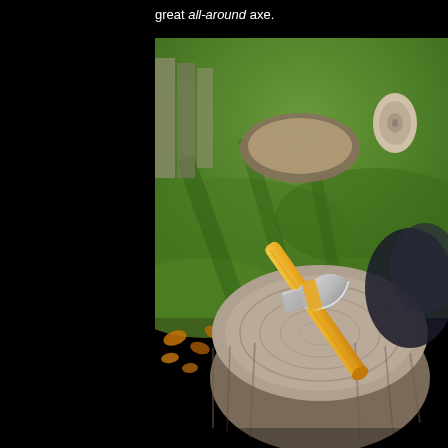great all-around axe.
[Figure (photo): An axe with a yellow/orange wooden handle embedded in a large tree stump, set in a garden with green grass, fallen autumn leaves, and cut logs in the background.]